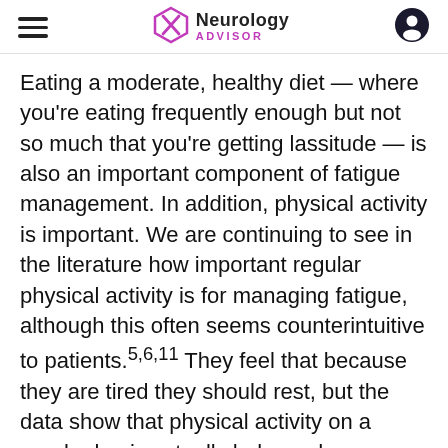Neurology Advisor
Eating a moderate, healthy diet — where you're eating frequently enough but not so much that you're getting lassitude — is also an important component of fatigue management. In addition, physical activity is important. We are continuing to see in the literature how important regular physical activity is for managing fatigue, although this often seems counterintuitive to patients.5,6,11 They feel that because they are tired they should rest, but the data show that physical activity on a regular basis actually helps reduce fatigue.